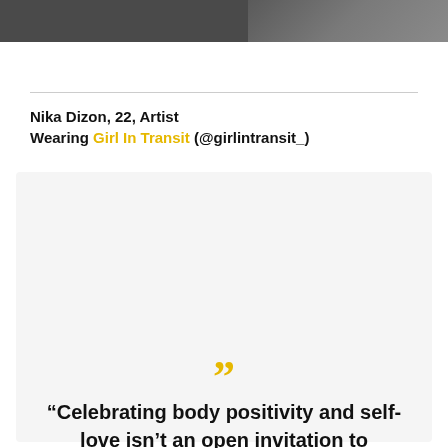[Figure (photo): Top portion of a photograph showing a person, cropped to show dark clothing and hands]
Nika Dizon, 22, Artist
Wearing Girl In Transit (@girlintransit_)
“Celebrating body positivity and self-love isn’t an open invitation to harmful or inappropriate comments. It’s not like people express or celebrate their sexuality for other people anyway.”